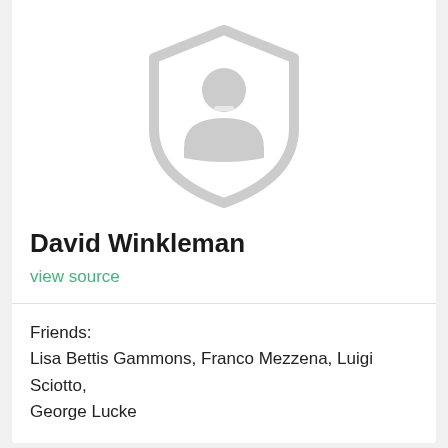[Figure (illustration): Gray shield/avatar icon with a stylized man silhouette, placeholder profile image]
David Winkleman
view source
Friends:
Lisa Bettis Gammons, Franco Mezzena, Luigi Sciotto, George Lucke